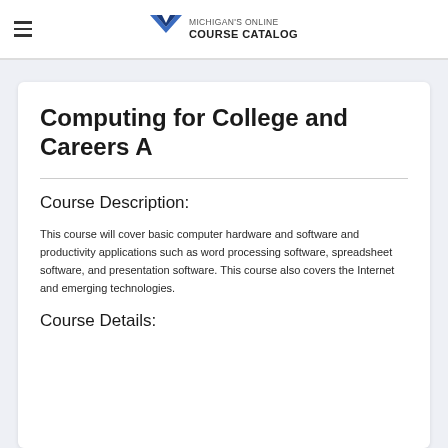MICHIGAN'S ONLINE COURSE CATALOG
Computing for College and Careers A
Course Description:
This course will cover basic computer hardware and software and productivity applications such as word processing software, spreadsheet software, and presentation software. This course also covers the Internet and emerging technologies.
Course Details: